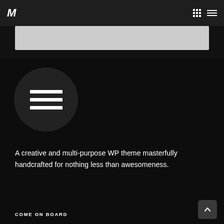M [logo] [grid icon] [menu icon]
[Figure (screenshot): Gray banner area below navigation bar]
[Figure (illustration): Dark circular icon with three white horizontal bars representing a hamburger/list menu icon on a very dark background]
A creative and multi-purpose WP theme masterfully handcrafted for nothing less than awesomeness.
COME ON BOARD